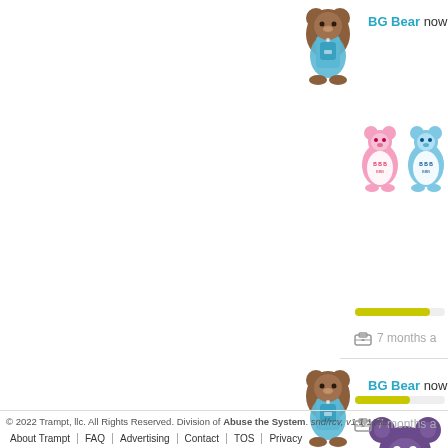[Figure (illustration): BG Bear avatar icon (brown bear with blue bag) top post]
BG Bear now
[Figure (illustration): Two small bear figurines, pink and blue, with text on them]
[Figure (illustration): BG Bear avatar icon (brown bear with blue bag) second post]
BG Bear now
[Figure (illustration): Large purple bear figurine wearing blue overalls]
© 2022 Trampt, llc. All Rights Reserved. Division of Abuse the System. snd/rcv, v1.1.1192.
About Trampt | FAQ | Advertising | Contact | TOS | Privacy